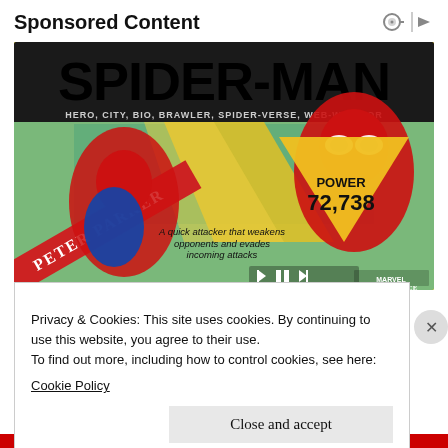Sponsored Content
[Figure (illustration): Spider-Man: Strike Force game advertisement banner. Yellow background with 'SPIDER-MAN' in large black bold text. Subtitle: 'HERO, CITY, BIO, BRAWLER, SPIDER-VERSE, WEB-WARRIOR'. Left side shows animated Spider-Man (Peter Parker) in action pose with red diagonal banner. Right side shows realistic/movie-style Spider-Man. Center yellow triangle shows 'POWER 72,738'. Description text: 'A quick attacker that weakens opponents and evades incoming attacks'. Media player controls visible. Marvel Strike Force logo bottom right.]
Privacy & Cookies: This site uses cookies. By continuing to use this website, you agree to their use.
To find out more, including how to control cookies, see here:
Cookie Policy
Close and accept